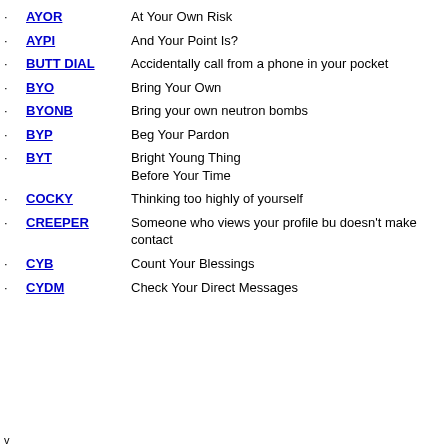AYOR - At Your Own Risk
AYPI - And Your Point Is?
BUTT DIAL - Accidentally call from a phone in your pocket
BYO - Bring Your Own
BYONB - Bring your own neutron bombs
BYP - Beg Your Pardon
BYT - Bright Young Thing / Before Your Time
COCKY - Thinking too highly of yourself
CREEPER - Someone who views your profile but doesn't make contact
CYB - Count Your Blessings
CYDM - Check Your Direct Messages
v